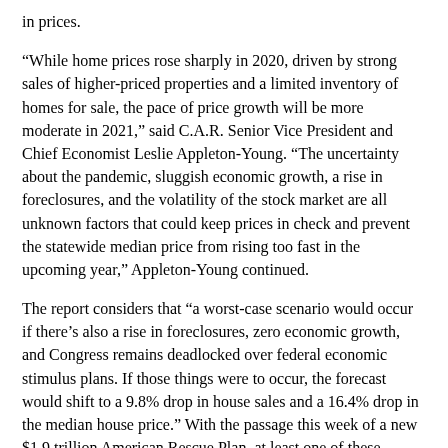in prices.
“While home prices rose sharply in 2020, driven by strong sales of higher-priced properties and a limited inventory of homes for sale, the pace of price growth will be more moderate in 2021,” said C.A.R. Senior Vice President and Chief Economist Leslie Appleton-Young. “The uncertainty about the pandemic, sluggish economic growth, a rise in foreclosures, and the volatility of the stock market are all unknown factors that could keep prices in check and prevent the statewide median price from rising too fast in the upcoming year,” Appleton-Young continued.
The report considers that “a worst-case scenario would occur if there’s also a rise in foreclosures, zero economic growth, and Congress remains deadlocked over federal economic stimulus plans. If those things were to occur, the forecast would shift to a 9.8% drop in house sales and a 16.4% drop in the median house price.” With the passage this week of a new $1.9 trillion American Rescue Plan, at least one of these potential negative actions has been mitigated.
Gary Keller, founder of the national Keller Williams real estate brokerage points to the potential for a high number of foreclosures entering the market. “If we get to the second quarter of 2021 and the number of loans in forbearance remains high, we could see